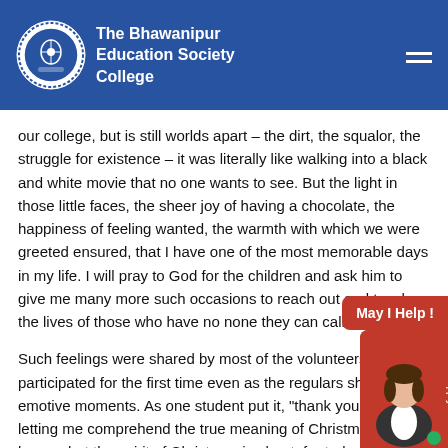The Bhawanipur Education Society College
our college, but is still worlds apart – the dirt, the squalor, the struggle for existence – it was literally like walking into a black and white movie that no one wants to see. But the light in those little faces, the sheer joy of having a chocolate, the happiness of feeling wanted, the warmth with which we were greeted ensured, that I have one of the most memorable days in my life. I will pray to God for the children and ask him to give me many more such occasions to reach out and touch the lives of those who have no none they can call their own”.
Such feelings were shared by most of the volunteers who had participated for the first time even as the regulars shared their emotive moments. As one student put it, “thank you BESC for letting me comprehend the true meaning of Christmas, today I know what the spirit of Christmas is about, for today I have celebrated life”.